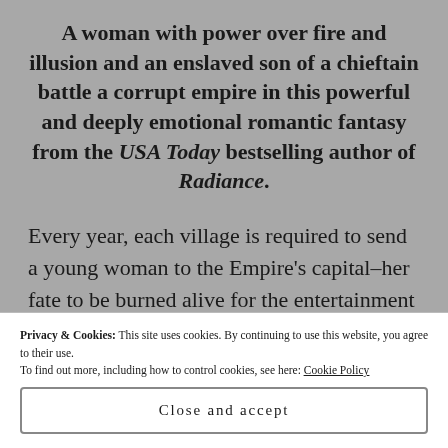A woman with power over fire and illusion and an enslaved son of a chieftain battle a corrupt empire in this powerful and deeply emotional romantic fantasy from the USA Today bestselling author of Radiance.
Every year, each village is required to send a young woman to the Empire's capital–her fate to be burned alive for the entertainment of the
Privacy & Cookies: This site uses cookies. By continuing to use this website, you agree to their use.
To find out more, including how to control cookies, see here: Cookie Policy
Close and accept